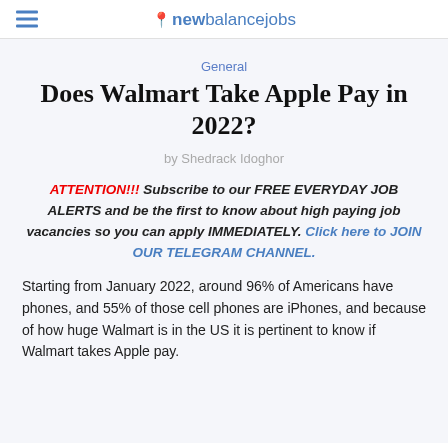newbalancejobs
General
Does Walmart Take Apple Pay in 2022?
by Shedrack Idoghor
ATTENTION!!! Subscribe to our FREE EVERYDAY JOB ALERTS and be the first to know about high paying job vacancies so you can apply IMMEDIATELY. Click here to JOIN OUR TELEGRAM CHANNEL.
Starting from January 2022, around 96% of Americans have phones, and 55% of those cell phones are iPhones, and because of how huge Walmart is in the US it is pertinent to know if Walmart takes Apple pay.